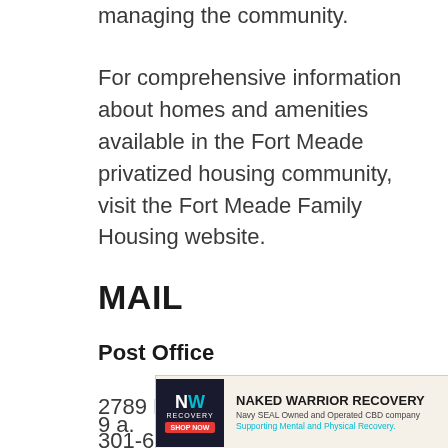managing the community.
For comprehensive information about homes and amenities available in the Fort Meade privatized housing community, visit the Fort Meade Family Housing website.
MAIL
Post Office
2789 MacArthur Road
301-621-7071
9 a.
[Figure (other): Advertisement banner for Naked Warrior Recovery - Navy SEAL Owned and Operated CBD company. Logo shows 'NW RECOVERY' with a Shop Now button. Tagline: Supporting Mental and Physical Recovery.]